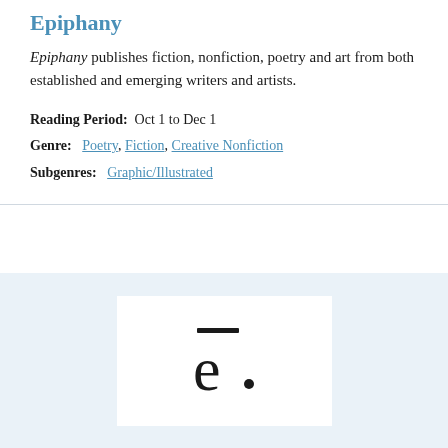Epiphany
Epiphany publishes fiction, nonfiction, poetry and art from both established and emerging writers and artists.
Reading Period: Oct 1 to Dec 1
Genre: Poetry, Fiction, Creative Nonfiction
Subgenres: Graphic/Illustrated
[Figure (logo): Epiphany literary magazine logo: stylized letter 'e' with a macron (overbar) and a dot, displayed in black on white background within a light blue panel.]